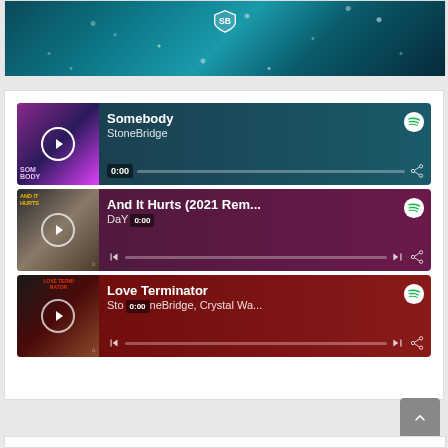[Figure (screenshot): Top partial card showing a cropped image with teal/blue abstract background with light sparkles and a shield logo]
[Figure (screenshot): Spotify player embed for 'Somebody' by StoneBridge - teal background with album art showing a woman in pink/purple lighting]
[Figure (screenshot): Spotify player embed for 'And It Hurts (2021 Rem...)' by DaYe - dark purple background with album art showing 'AND IT HURTS' text]
[Figure (screenshot): Spotify player embed for 'Love Terminator' by StoneBridge, Crystal Wa... - dark red background with album art showing 'LOVE TERMINATOR' text]
[Figure (screenshot): Bottom partial card, mostly empty white space]
[Figure (screenshot): Scroll-to-top button, grey rounded square with upward arrow]